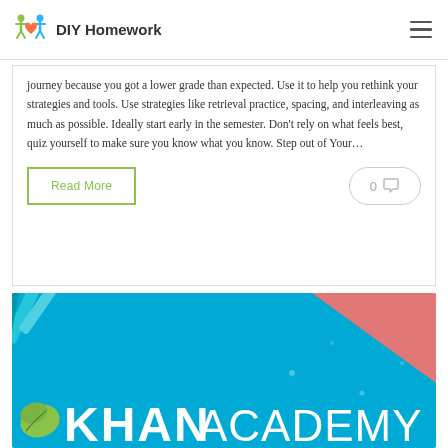DIY Homework
journey because you got a lower grade than expected. Use it to help you rethink your strategies and tools. Use strategies like retrieval practice, spacing, and interleaving as much as possible. Ideally start early in the semester. Don't rely on what feels best, quiz yourself to make sure you know what you know. Step out of Your…
Read More
0
[Figure (illustration): Khan Academy promotional banner with teal background, pink triangle in top right corner, pencils in top left, green leaf logo in bottom left, and 'KHANACADEMY' text in white bold letters across the bottom.]